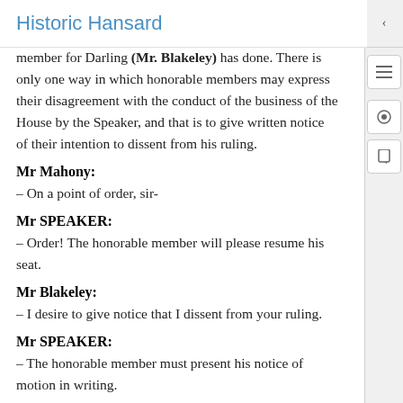Historic Hansard
member for Darling (Mr. Blakeley) has done. There is only one way in which honorable members may express their disagreement with the conduct of the business of the House by the Speaker, and that is to give written notice of their intention to dissent from his ruling.
Mr Mahony:
– On a point of order, sir-
Mr SPEAKER:
– Order! The honorable member will please resume his seat.
Mr Blakeley:
– I desire to give notice that I dissent from your ruling.
Mr SPEAKER:
– The honorable member must present his notice of motion in writing.